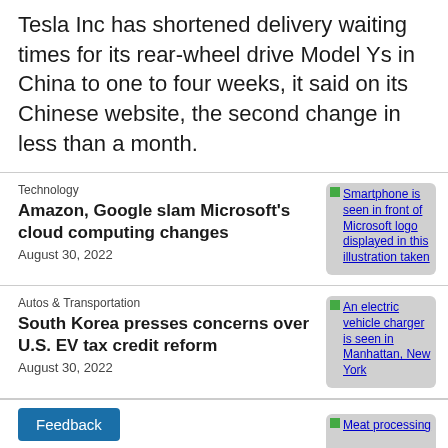Tesla Inc has shortened delivery waiting times for its rear-wheel drive Model Ys in China to one to four weeks, it said on its Chinese website, the second change in less than a month.
Technology
Amazon, Google slam Microsoft's cloud computing changes
August 30, 2022
[Figure (photo): Smartphone is seen in front of Microsoft logo displayed in this illustration taken]
Autos & Transportation
South Korea presses concerns over U.S. EV tax credit reform
August 30, 2022
[Figure (photo): An electric vehicle charger is seen in Manhattan, New York]
Feedback
Re...er
[Figure (photo): Meat processing]